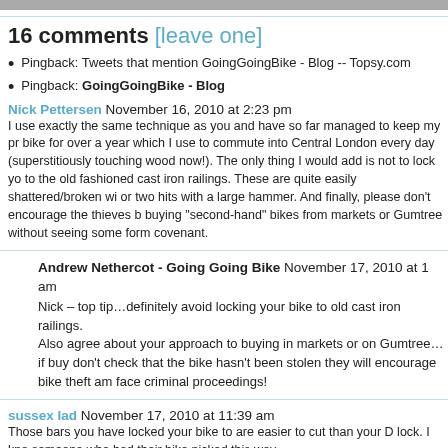[Figure (photo): Partial photo strip at top of page]
16 comments [leave one]
Pingback: Tweets that mention GoingGoingBike - Blog -- Topsy.com
Pingback: GoingGoingBike - Blog
Nick Pettersen November 16, 2010 at 2:23 pm
I use exactly the same technique as you and have so far managed to keep my pr bike for over a year which I use to commute into Central London every day (superstitiously touching wood now!). The only thing I would add is not to lock yo to the old fashioned cast iron railings. These are quite easily shattered/broken wi or two hits with a large hammer. And finally, please don't encourage the thieves b buying "second-hand" bikes from markets or Gumtree without seeing some form covenant.
Andrew Nethercot - Going Going Bike November 17, 2010 at 1 am
Nick – top tip…definitely avoid locking your bike to old cast iron railings.
Also agree about your approach to buying in markets or on Gumtree…if buy don't check that the bike hasn't been stolen they will encourage bike theft am face criminal proceedings!
sussex lad November 17, 2010 at 11:39 am
Those bars you have locked your bike to are easier to cut than your D lock. I kno someone who had their bike nicked this way.